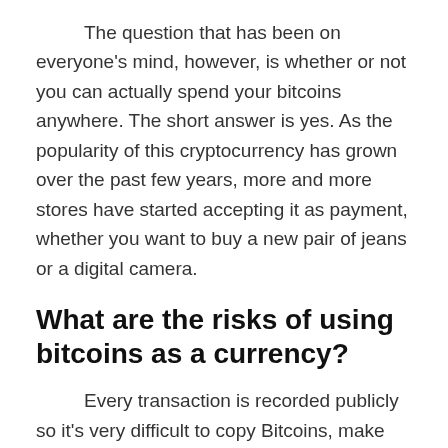The question that has been on everyone's mind, however, is whether or not you can actually spend your bitcoins anywhere. The short answer is yes. As the popularity of this cryptocurrency has grown over the past few years, more and more stores have started accepting it as payment, whether you want to buy a new pair of jeans or a digital camera.
What are the risks of using bitcoins as a currency?
Every transaction is recorded publicly so it's very difficult to copy Bitcoins, make fake ones or spend ones you don't own.It is possible to lose